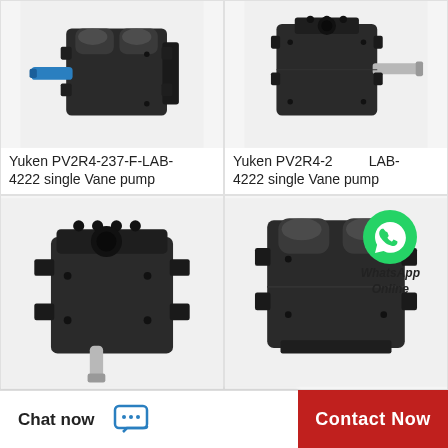[Figure (photo): Yuken PV2R4-237-F-LAB-4222 single Vane pump - black hydraulic pump with blue shaft, front-left view]
Yuken PV2R4-237-F-LAB-4222 single Vane pump
[Figure (photo): Yuken PV2R4-237-F-LAB-4222 single Vane pump - black hydraulic pump with silver shaft, front-right view]
Yuken PV2R4-237-F-LAB-4222 single Vane pump
[Figure (photo): Yuken single Vane pump - black hydraulic pump top/rear view]
[Figure (photo): Yuken single Vane pump - black hydraulic pump front view with dual ports]
[Figure (logo): WhatsApp Online icon with green phone logo and text WhatsApp Online]
Chat now
Contact Now